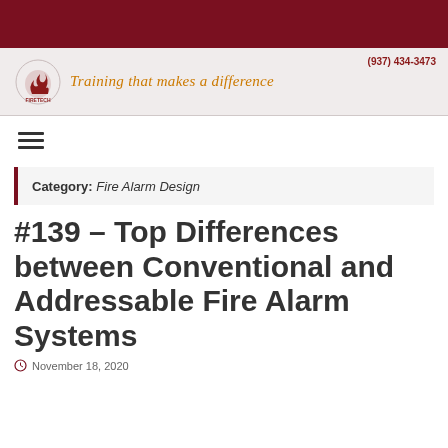Training that makes a difference | (937) 434-3473
Category: Fire Alarm Design
#139 – Top Differences between Conventional and Addressable Fire Alarm Systems
November 18, 2020